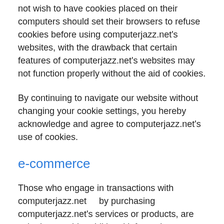not wish to have cookies placed on their computers should set their browsers to refuse cookies before using computerjazz.net's websites, with the drawback that certain features of computerjazz.net's websites may not function properly without the aid of cookies.
By continuing to navigate our website without changing your cookie settings, you hereby acknowledge and agree to computerjazz.net's use of cookies.
e-commerce
Those who engage in transactions with computerjazz.net    by purchasing computerjazz.net's services or products, are asked to provide additional information, including as necessary the personal and financial information required to process those transactions. In each case, computerjazz.net collects such information only insofar as is necessary or